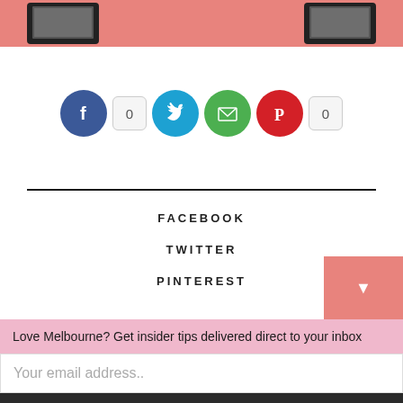[Figure (screenshot): Top pink/salmon banner with two tablet device images on left and right]
[Figure (infographic): Social sharing icons row: Facebook blue circle, count bubble '0', Twitter blue circle, Email green circle, Pinterest red circle, count bubble '0']
FACEBOOK
TWITTER
PINTEREST
Love Melbourne? Get insider tips delivered direct to your inbox
Your email address..
SUBSCRIBE